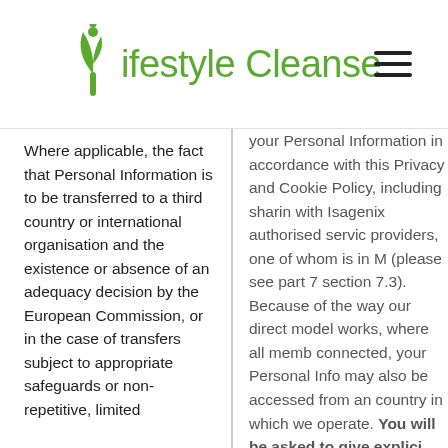Lifestyle Cleanse
Where applicable, the fact that Personal Information is to be transferred to a third country or international organisation and the existence or absence of an adequacy decision by the European Commission, or in the case of transfers subject to appropriate safeguards or non-repetitive, limited
your Personal Information in accordance with this Privacy and Cookie Policy, including sharing with Isagenix authorised service providers, one of whom is in M (please see part 7 section 7.3). Because of the way our direct model works, where all members connected, your Personal Information may also be accessed from any country in which we operate. You will be asked to give explicit consent on this Site and your continued use of this Site also that constitutes your explicit consent to these transfers.